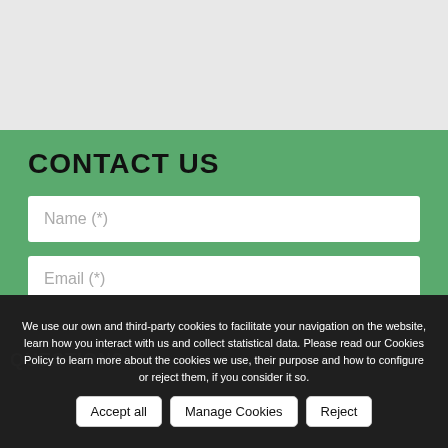[Figure (screenshot): Top gray background area representing a website map or content region]
CONTACT US
Name (*)
Email (*)
We use our own and third-party cookies to facilitate your navigation on the website, learn how you interact with us and collect statistical data. Please read our Cookies Policy to learn more about the cookies we use, their purpose and how to configure or reject them, if you consider it so.
QUESTION?